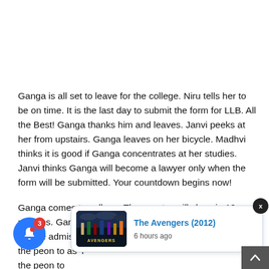Ganga is all set to leave for the college. Niru tells her to be on time. It is the last day to submit the form for LLB. All the Best! Ganga thanks him and leaves. Janvi peeks at her from upstairs. Ganga leaves on her bicycle. Madhvi thinks it is good if Ganga concentrates at her studies. Janvi thinks Ganga will become a lawyer only when the form will be submitted. Your countdown begins now!
Ganga comes to college. The counter will close in 10 minutes. Ganga hopes to submit her form on time. I have to take admission this year. She feels itchy. She requests the peon to as... One sh... a's hands ...
[Figure (screenshot): A notification popup showing 'The Avengers (2012)' with movie poster thumbnail and '6 hours ago' timestamp. A blue bell icon with red badge showing '3' is on the left. A dark close button with 'x' is top right of the popup.]